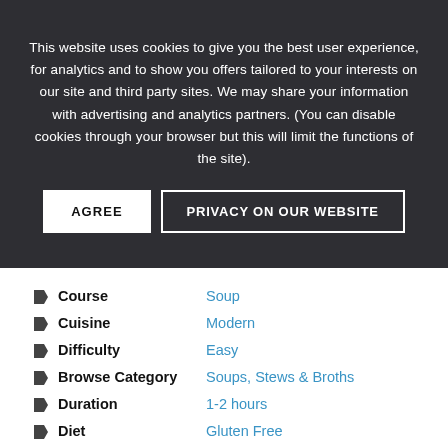This website uses cookies to give you the best user experience, for analytics and to show you offers tailored to your interests on our site and third party sites. We may share your information with advertising and analytics partners. (You can disable cookies through your browser but this will limit the functions of the site).
AGREE | PRIVACY ON OUR WEBSITE
Course — Soup
Cuisine — Modern
Difficulty — Easy
Browse Category — Soups, Stews & Broths
Duration — 1-2 hours
Diet — Gluten Free
Cooking Technique — Pressure Cook, Sauté
Main Ingredient — Carrot, Celery, Dried Split